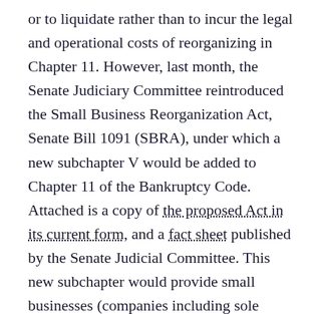or to liquidate rather than to incur the legal and operational costs of reorganizing in Chapter 11. However, last month, the Senate Judiciary Committee reintroduced the Small Business Reorganization Act, Senate Bill 1091 (SBRA), under which a new subchapter V would be added to Chapter 11 of the Bankruptcy Code. Attached is a copy of the proposed Act in its current form, and a fact sheet published by the Senate Judicial Committee. This new subchapter would provide small businesses (companies including sole proprietorships with non-contingent, liquidated debts in an amount not greater than $2,566,050) with an